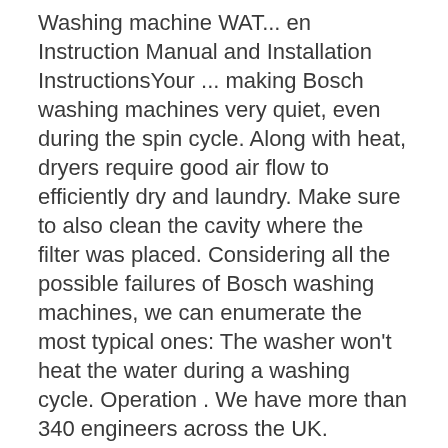Washing machine WAT... en Instruction Manual and Installation InstructionsYour ... making Bosch washing machines very quiet, even during the spin cycle. Along with heat, dryers require good air flow to efficiently dry and laundry. Make sure to also clean the cavity where the filter was placed. Considering all the possible failures of Bosch washing machines, we can enumerate the most typical ones: The washer won't heat the water during a washing cycle. Operation . We have more than 340 engineers across the UK. However, sometimes things do go wrong! ... %6++RPH$SSOLDQFHV&RUSRUDWLR